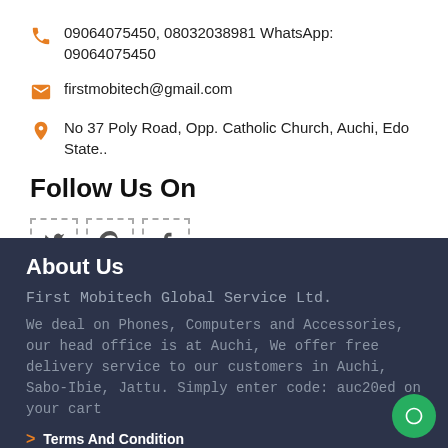09064075450, 08032038981 WhatsApp: 09064075450
firstmobitech@gmail.com
No 37 Poly Road, Opp. Catholic Church, Auchi, Edo State..
Follow Us On
[Figure (other): Social media icons: Twitter, Pinterest, Facebook in dashed border boxes]
About Us
First Mobitech Global Service Ltd.
We deal on Phones, Computers and Accessories, our head office is at Auchi, We offer free delivery service to our customers in Auchi, Sabo-Ibie, Jattu. Simply enter code: auc20ed on your cart
Terms And Condition